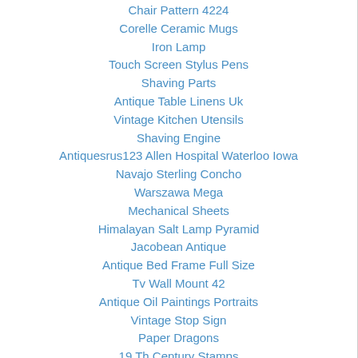Chair Pattern 4224
Corelle Ceramic Mugs
Iron Lamp
Touch Screen Stylus Pens
Shaving Parts
Antique Table Linens Uk
Vintage Kitchen Utensils
Shaving Engine
Antiquesrus123 Allen Hospital Waterloo Iowa
Navajo Sterling Concho
Warszawa Mega
Mechanical Sheets
Himalayan Salt Lamp Pyramid
Jacobean Antique
Antique Bed Frame Full Size
Tv Wall Mount 42
Antique Oil Paintings Portraits
Vintage Stop Sign
Paper Dragons
19 Th Century Stamps
Wicker Laundry Hamper
Seth Thomas Clock Movement Aoo
Russian Wood